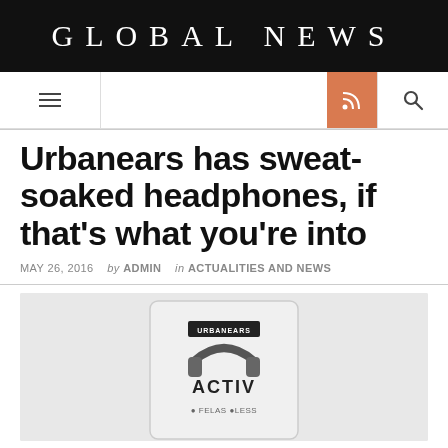GLOBAL NEWS
Navigation bar with menu, RSS, and search icons
Urbanears has sweat-soaked headphones, if that's what you're into
MAY 26, 2016   by ADMIN   in ACTUALITIES AND NEWS
[Figure (photo): Product photo of Urbanears Active headphones in packaging on a light grey background, showing the headphone arc and 'ACTIVE' text on the packaging label.]